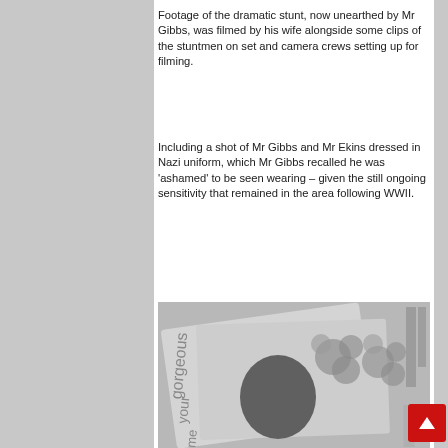Footage of the dramatic stunt, now unearthed by Mr Gibbs, was filmed by his wife alongside some clips of the stuntmen on set and camera crews setting up for filming.
Including a shot of Mr Gibbs and Mr Ekins dressed in Nazi uniform, which Mr Gibbs recalled he was 'ashamed' to be seen wearing – given the still ongoing sensitivity that remained in the area following WWII.
[Figure (photo): A grayscale image showing what appears to be printed materials or magazines with floral decorative elements, partially visible text reading 'gorgeous', 'your', and other partial words.]